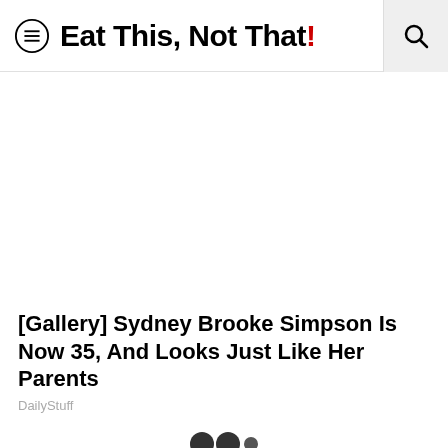Eat This, Not That!
[Figure (other): Advertisement / blank white area placeholder]
[Gallery] Sydney Brooke Simpson Is Now 35, And Looks Just Like Her Parents
DailyStuff
[Figure (other): Pagination dots: two large dark circles and one smaller dark circle]